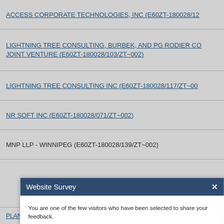ACCESS CORPORATE TECHNOLOGIES, INC (E60ZT-180028/12…
LIGHTNING TREE CONSULTING, BURBEK, AND PG RODIER CO JOINT VENTURE (E60ZT-180028/103/ZT~002)
LIGHTNING TREE CONSULTING INC (E60ZT-180028/117/ZT~00…
NR SOFT INC (E60ZT-180028/071/ZT~002)
MNP LLP - WINNIPEG (E60ZT-180028/139/ZT~002)
[Figure (screenshot): Website Survey modal dialog box with dark blue header, close button (×), body text inviting user to take a short survey, and two buttons: 'Yes, after my visit.' (dark blue) and 'No, thank you.' (grey)]
PLANBOX (E60ZT-180028/002/ZT~002)